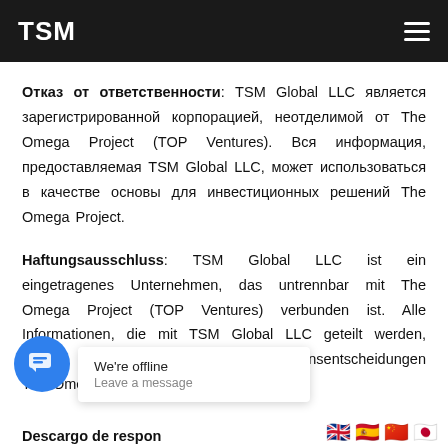TSM
Отказ от ответственности: TSM Global LLC является зарегистрированной корпорацией, неотделимой от The Omega Project (TOP Ventures). Вся информация, предоставляемая TSM Global LLC, может использоваться в качестве основы для инвестиционных решений The Omega Project.
Haftungsausschluss: TSM Global LLC ist ein eingetragenes Unternehmen, das untrennbar mit The Omega Project (TOP Ventures) verbunden ist. Alle Informationen, die mit TSM Global LLC geteilt werden, können als Grundlage für die Investitionsentscheidungen The Omega Project verwendet werden.
Descargo de respon...